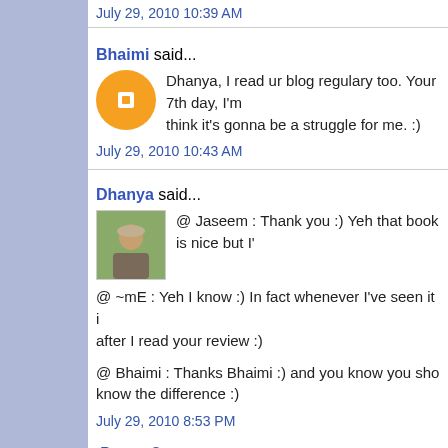July 29, 2010 10:39 AM
Bhaimi said...
Dhanya, I read ur blog regulary too. Your 7th day, I'm think it's gonna be a struggle for me. :)
July 29, 2010 10:43 AM
Dhanya said...
@ Jaseem : Thank you :) Yeh that book is nice but I'
@ ~mE : Yeh I know :) In fact whenever I've seen it i after I read your review :)
@ Bhaimi : Thanks Bhaimi :) and you know you sho know the difference :)
July 29, 2010 8:53 PM
Post a Comment